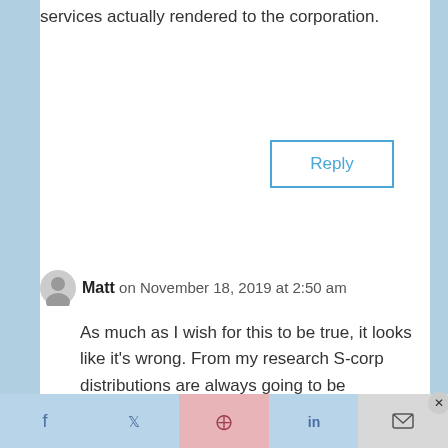services actually rendered to the corporation.
Reply
Matt on November 18, 2019 at 2:50 am
As much as I wish for this to be true, it looks like it’s wrong. From my research S-corp distributions are always going to be unearned income.
https://www.irs.gov/publications/p5